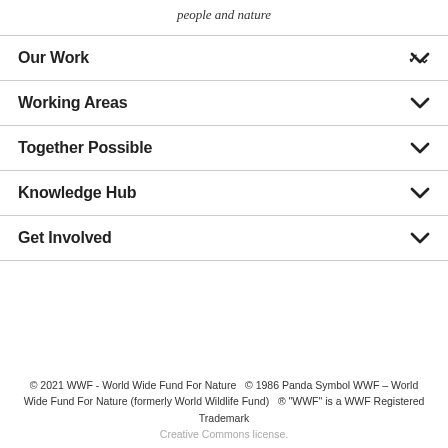people and nature
Our Work
Working Areas
Together Possible
Knowledge Hub
Get Involved
© 2021 WWF - World Wide Fund For Nature   © 1986 Panda Symbol WWF – World Wide Fund For Nature (formerly World Wildlife Fund)   ® "WWF" is a WWF Registered Trademark
Creative Commons license.